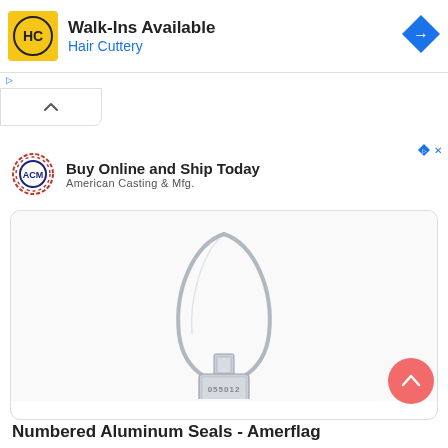[Figure (logo): Hair Cuttery ad banner with yellow HC logo, 'Walk-Ins Available' title, 'Hair Cuttery' subtitle in blue, blue diamond navigation icon on right]
[Figure (logo): American Casting & Mfg. ad with ACM gear logo, 'Buy Online and Ship Today' title, 'American Casting & Mfg.' subtitle]
[Figure (photo): Numbered aluminum cable seal product photo - silver metal wire looped tag with numbered aluminum plate]
Numbered Aluminum Seals - Amerflag